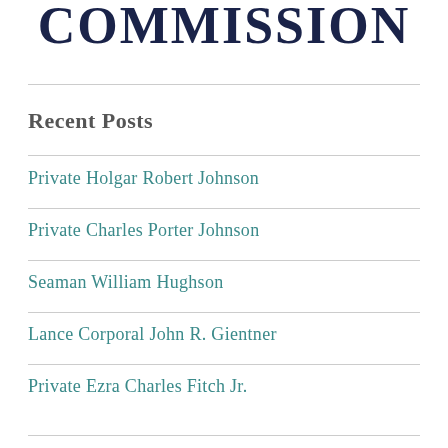COMMISSION
Recent Posts
Private Holgar Robert Johnson
Private Charles Porter Johnson
Seaman William Hughson
Lance Corporal John R. Gientner
Private Ezra Charles Fitch Jr.